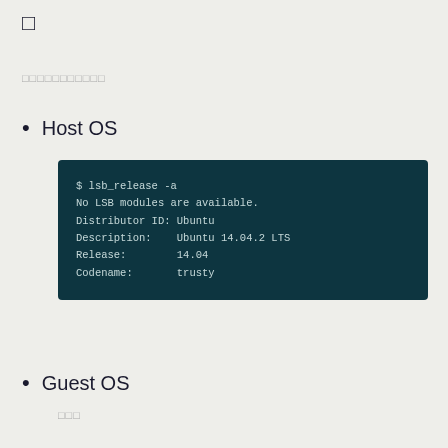□
□□□□□□□□□□□
Host OS
[Figure (screenshot): Terminal code block showing lsb_release -a output: No LSB modules are available. Distributor ID: Ubuntu. Description: Ubuntu 14.04.2 LTS. Release: 14.04. Codename: trusty]
Guest OS
□□□